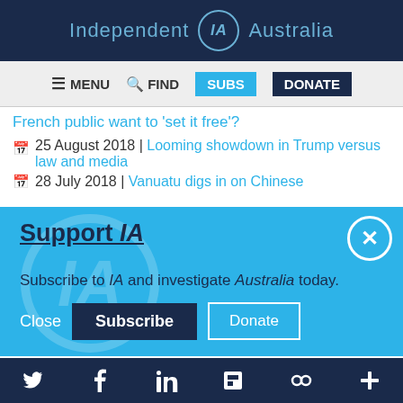Independent IA Australia
MENU  FIND  SUBS  DONATE
French public want to 'set it free'?
25 August 2018 | Looming showdown in Trump versus law and media
28 July 2018 | Vanuatu digs in on Chinese
Support IA
Subscribe to IA and investigate Australia today.
Close  Subscribe  Donate
Twitter  Facebook  LinkedIn  Flipboard  Link  More